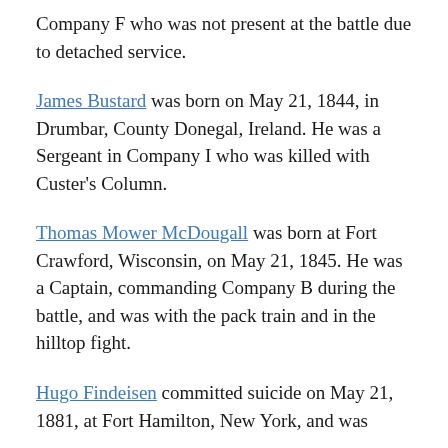Company F who was not present at the battle due to detached service.
James Bustard was born on May 21, 1844, in Drumbar, County Donegal, Ireland. He was a Sergeant in Company I who was killed with Custer's Column.
Thomas Mower McDougall was born at Fort Crawford, Wisconsin, on May 21, 1845. He was a Captain, commanding Company B during the battle, and was with the pack train and in the hilltop fight.
Hugo Findeisen committed suicide on May 21, 1881, at Fort Hamilton, New York, and was